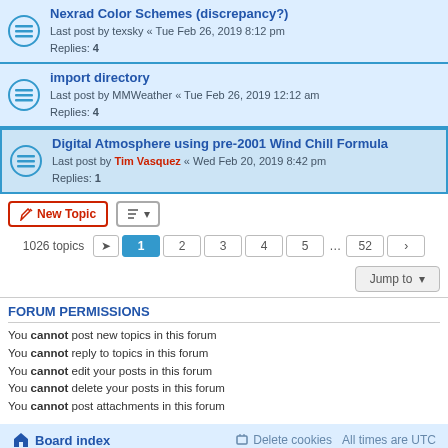Nexrad Color Schemes (discrepancy?) — Last post by texsky « Tue Feb 26, 2019 8:12 pm — Replies: 4
import directory — Last post by MMWeather « Tue Feb 26, 2019 12:12 am — Replies: 4
Digital Atmosphere using pre-2001 Wind Chill Formula — Last post by Tim Vasquez « Wed Feb 20, 2019 8:42 pm — Replies: 1
1026 topics   1 2 3 4 5 ... 52
Jump to
FORUM PERMISSIONS
You cannot post new topics in this forum
You cannot reply to topics in this forum
You cannot edit your posts in this forum
You cannot delete your posts in this forum
You cannot post attachments in this forum
Board index   Delete cookies   All times are UTC
Powered by phpBB® Forum Software © phpBB Limited
Privacy | Terms